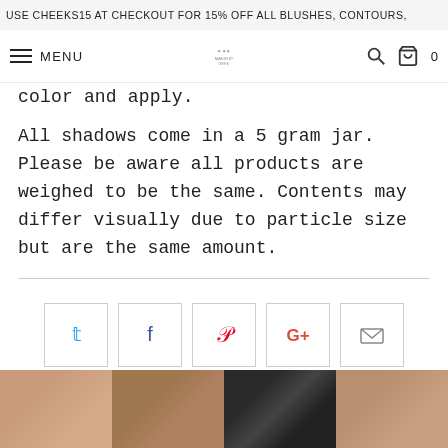USE CHEEKS15 AT CHECKOUT FOR 15% OFF ALL BLUSHES, CONTOURS,
MENU
color and apply.
All shadows come in a 5 gram jar. Please be aware all products are weighed to be the same. Contents may differ visually due to particle size but are the same amount.
[Figure (infographic): Social sharing buttons: Twitter, Facebook, Pinterest, Google+, Email]
RELATED ITEMS
[Figure (photo): Product images strip at bottom showing cosmetic products]